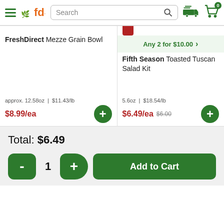FreshDirect — Search bar, delivery and cart icons
Any 2 for $10.00
FreshDirect Mezze Grain Bowl
approx. 12.58oz | $11.43/lb
$8.99/ea
Fifth Season Toasted Tuscan Salad Kit
5.6oz | $18.54/lb
$6.49/ea $6.00
Total: $6.49
- 1 + Add to Cart